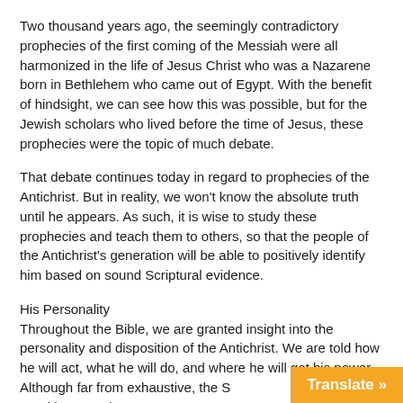Two thousand years ago, the seemingly contradictory prophecies of the first coming of the Messiah were all harmonized in the life of Jesus Christ who was a Nazarene born in Bethlehem who came out of Egypt. With the benefit of hindsight, we can see how this was possible, but for the Jewish scholars who lived before the time of Jesus, these prophecies were the topic of much debate.
That debate continues today in regard to prophecies of the Antichrist. But in reality, we won't know the absolute truth until he appears. As such, it is wise to study these prophecies and teach them to others, so that the people of the Antichrist's generation will be able to positively identify him based on sound Scriptural evidence.
His Personality
Throughout the Bible, we are granted insight into the personality and disposition of the Antichrist. We are told how he will act, what he will do, and where he will get his power. Although far from exhaustive, the S[criptures provide] us with many clues.
[Figure (other): Orange 'Translate »' button in bottom-right corner]